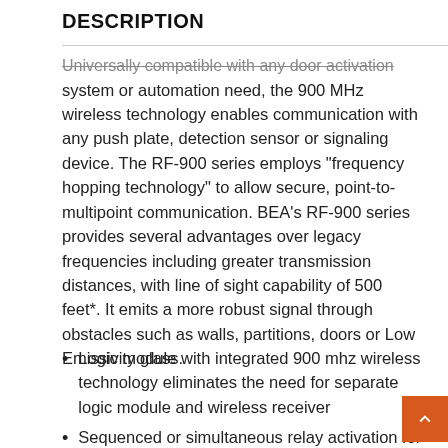DESCRIPTION
Universally compatible with any door activation system or automation need, the 900 MHz wireless technology enables communication with any push plate, detection sensor or signaling device. The RF-900 series employs "frequency hopping technology" to allow secure, point-to-multipoint communication. BEA's RF-900 series provides several advantages over legacy frequencies including greater transmission distances, with line of sight capability of 500 feet*. It emits a more robust signal through obstacles such as walls, partitions, doors or Low Emissivity glass.
Logic module with integrated 900 mhz wireless technology eliminates the need for separate logic module and wireless receiver
Sequenced or simultaneous relay activation for application flexibility